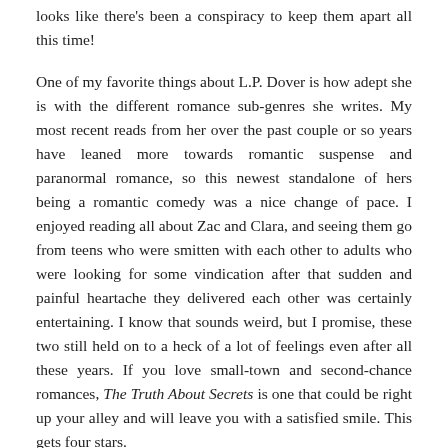looks like there's been a conspiracy to keep them apart all this time!
One of my favorite things about L.P. Dover is how adept she is with the different romance sub-genres she writes. My most recent reads from her over the past couple or so years have leaned more towards romantic suspense and paranormal romance, so this newest standalone of hers being a romantic comedy was a nice change of pace. I enjoyed reading all about Zac and Clara, and seeing them go from teens who were smitten with each other to adults who were looking for some vindication after that sudden and painful heartache they delivered each other was certainly entertaining. I know that sounds weird, but I promise, these two still held on to a heck of a lot of feelings even after all these years. If you love small-town and second-chance romances, The Truth About Secrets is one that could be right up your alley and will leave you with a satisfied smile. This gets four stars.
Date Read: 31 August 2021
I …